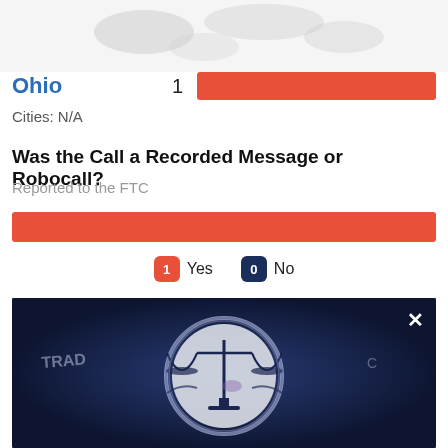[Figure (map): Partial US state map silhouette in light gray on white background]
Ohio
Cities: N/A
Was the Call a Recorded Message or Robocall?
Reported to the FTC
[Figure (bar-chart): Horizontal bar chart showing 1 Yes and 0 No responses]
[Figure (photo): Close-up photo of FTC (Federal Trade Commission) seal/medallion with scales of justice emblem, dark blue tones]